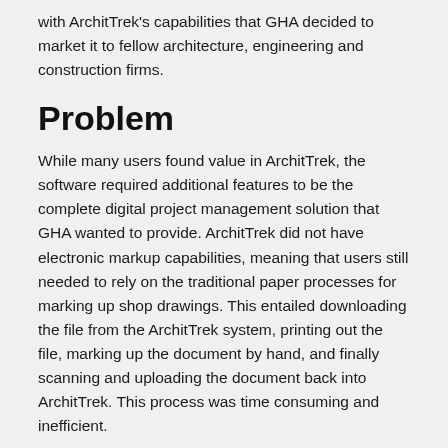with ArchitTrek's capabilities that GHA decided to market it to fellow architecture, engineering and construction firms.
Problem
While many users found value in ArchitTrek, the software required additional features to be the complete digital project management solution that GHA wanted to provide. ArchitTrek did not have electronic markup capabilities, meaning that users still needed to rely on the traditional paper processes for marking up shop drawings. This entailed downloading the file from the ArchitTrek system, printing out the file, marking up the document by hand, and finally scanning and uploading the document back into ArchitTrek. This process was time consuming and inefficient.
Solution
GHA knew they wanted to add digital markup as a feature in ArchitTrek, primarily for their internal use. This